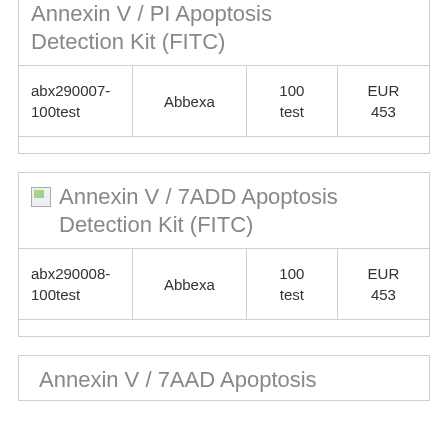Annexin V / PI Apoptosis Detection Kit (FITC)
| Catalog | Supplier | Size | Price |
| --- | --- | --- | --- |
| abx290007-100test | Abbexa | 100 test | EUR 453 |
Annexin V / 7ADD Apoptosis Detection Kit (FITC)
| Catalog | Supplier | Size | Price |
| --- | --- | --- | --- |
| abx290008-100test | Abbexa | 100 test | EUR 453 |
Annexin V / 7AAD Apoptosis